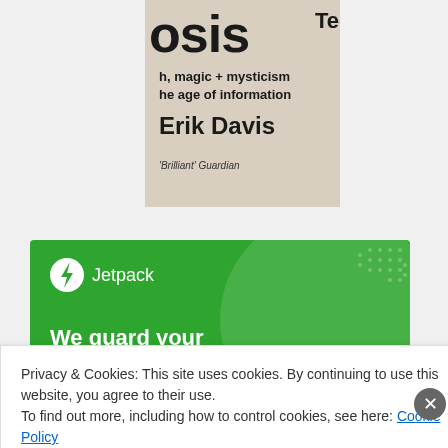[Figure (photo): Book cover for TechGnosis by Erik Davis showing large text 'osis TechGnosis', subtitle 'h, magic + mysticism he age of information', author 'Erik Davis', and quote 'Brilliant' Guardian]
[Figure (illustration): Jetpack advertisement banner with green background, Jetpack logo with lightning bolt icon, text 'We guard your WordPress site. You run your business.']
Privacy & Cookies: This site uses cookies. By continuing to use this website, you agree to their use.
To find out more, including how to control cookies, see here: Cookie Policy